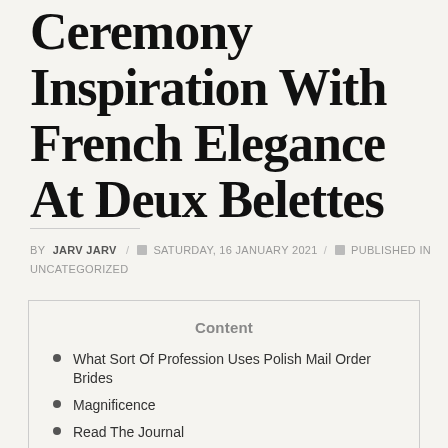Ceremony Inspiration With French Elegance At Deux Belettes
BY JARV JARV / SATURDAY, 16 JANUARY 2021 / PUBLISHED IN UNCATEGORIZED
Content
What Sort Of Profession Uses Polish Mail Order Brides
Magnificence
Read The Journal